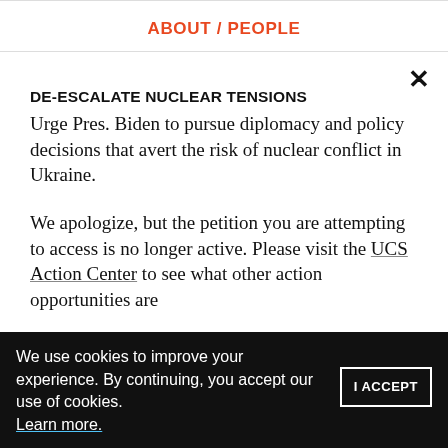ABOUT / PEOPLE
DE-ESCALATE NUCLEAR TENSIONS
Urge Pres. Biden to pursue diplomacy and policy decisions that avert the risk of nuclear conflict in Ukraine.
We apologize, but the petition you are attempting to access is no longer active. Please visit the UCS Action Center to see what other action opportunities are
We use cookies to improve your experience. By continuing, you accept our use of cookies. Learn more. | I ACCEPT